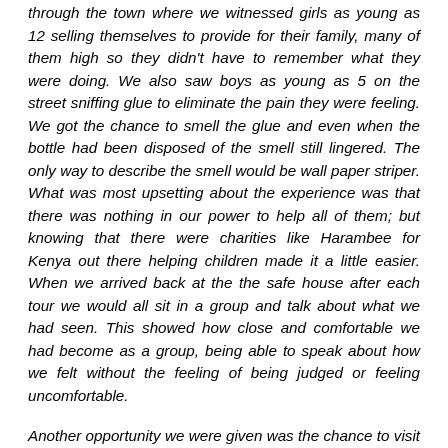through the town where we witnessed girls as young as 12 selling themselves to provide for their family, many of them high so they didn't have to remember what they were doing. We also saw boys as young as 5 on the street sniffing glue to eliminate the pain they were feeling. We got the chance to smell the glue and even when the bottle had been disposed of the smell still lingered. The only way to describe the smell would be wall paper striper. What was most upsetting about the experience was that there was nothing in our power to help all of them; but knowing that there were charities like Harambee for Kenya out there helping children made it a little easier. When we arrived back at the the safe house after each tour we would all sit in a group and talk about what we had seen. This showed how close and comfortable we had become as a group, being able to speak about how we felt without the feeling of being judged or feeling uncomfortable.
Another opportunity we were given was the chance to visit a Kenyan School. Walking around was another culture shock of how different our upbringing is. We were given a tour by the deputy head